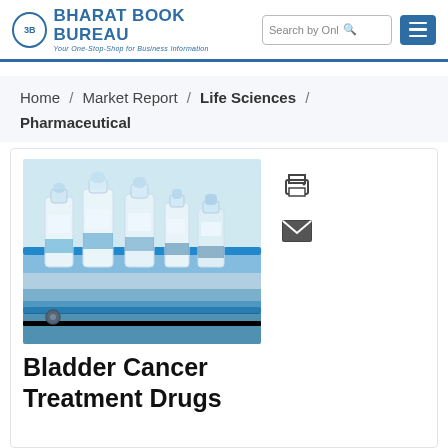3B BHARAT BOOK BUREAU — Your One-Stop-Shop for Business Information
Home / Market Report / Life Sciences / Pharmaceutical
[Figure (photo): Pharmaceutical vials/bottles on a production line with blue conveyor belt]
Bladder Cancer Treatment Drugs